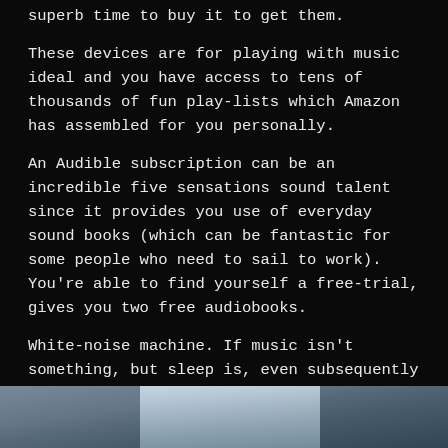superb time to buy it to get them.
These devices are for playing with music ideal and you have access to tens of thousands of fun play-lists which Amazon has assembled for you personally.
An Audible subscription can be an incredible five sensations sound talent since it provides you use of everyday sound books (which can be fantastic for some people who need to sail to work). You’re able to find yourself a free-trial, gives you two free audiobooks.
White-noise machine. If music isn’t something, but sleep is, even subsequently the white sound system is an excellent five perceptions gift! Machines create noises which can allow you to sleep more and much deeper, and this is one of the best presents you could buy.
[Figure (photo): Bottom strip of a photo, showing what appears to be a person or object against a light background, only the very top portion visible.]